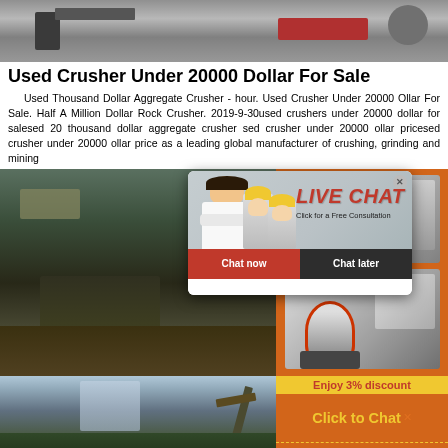[Figure (photo): Top banner photo of construction/mining equipment, grey and red machinery visible]
Used Crusher Under 20000 Dollar For Sale
Used Thousand Dollar Aggregate Crusher - hour. Used Crusher Under 20000 Ollar For Sale. Half A Million Dollar Rock Crusher. 2019-9-30used crushers under 20000 dollar for salesed 20 thousand dollar aggregate crusher sed crusher under 20000 ollar pricesed crusher under 20000 ollar price as a leading global manufacturer of crushing, grinding and mining
[Figure (photo): Left: excavation/mining site photo with heavy machinery. Right: orange banner with crusher equipment images]
[Figure (infographic): Live Chat popup overlay showing woman in hardhat with LIVE CHAT text, Click for a Free Consultation, Chat now and Chat later buttons]
[Figure (photo): Bottom left: outdoor photo with crane/excavator. Bottom right: orange panel with Enjoy 3% discount, Click to Chat, Enquiry labels]